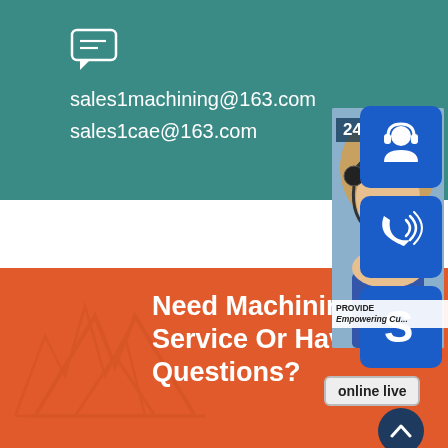[Figure (infographic): Teal contact section with chat icon and email addresses: sales1machining@163.com and sales1cae@163.com]
sales1machining@163.com
sales1cae@163.com
[Figure (photo): Customer service woman wearing headset]
[Figure (infographic): 24/7 label overlay on customer service photo]
[Figure (infographic): Blue icon button with headset/person icon]
[Figure (infographic): Blue icon button with phone/signal icon]
[Figure (infographic): Blue icon button with Skype S icon]
PROVIDE Empowering Cu...
online live
Need Machining Service Or Have Any Questions?